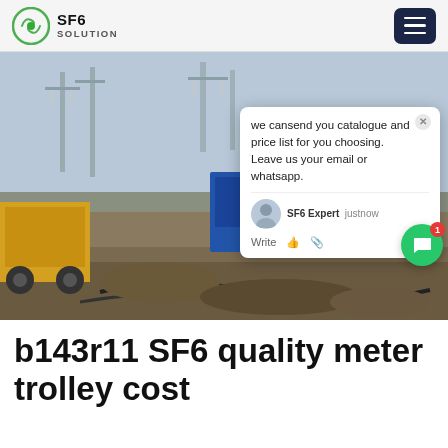SF6 SOLUTION
[Figure (photo): Outdoor electrical substation construction site with transformers, pylons, heavy machinery and a blue portable cabin. A live chat popup overlay reads: 'we can send you catalogue and price list for you choosing. Leave us your email or whatsapp.' with SF6 Expert listed as justnow.]
b143r11 SF6 quality meter trolley cost